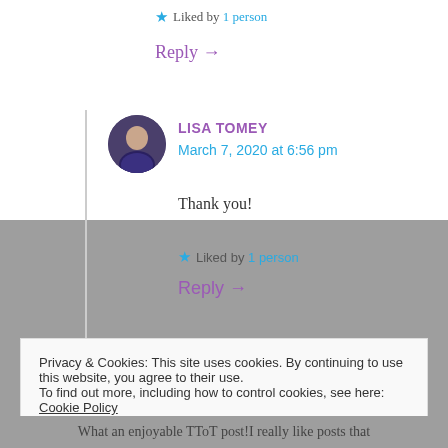★ Liked by 1 person
Reply →
LISA TOMEY
March 7, 2020 at 6:56 pm
Thank you!
★ Liked by 1 person
Reply →
Privacy & Cookies: This site uses cookies. By continuing to use this website, you agree to their use.
To find out more, including how to control cookies, see here: Cookie Policy
Close and accept
What an enjoyable TToT post!I really like posts that